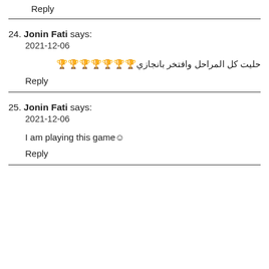Reply
24. Jonin Fati says:
2021-12-06
حليت كل المراحل وافتخر بانجازي🏆🏆🏆🏆🏆🏆🏆
Reply
25. Jonin Fati says:
2021-12-06
I am playing this game☺
Reply